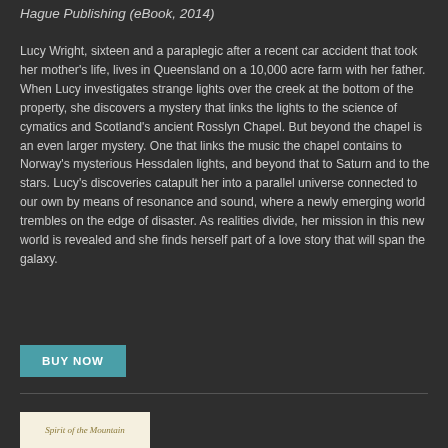Hague Publishing (eBook, 2014)
Lucy Wright, sixteen and a paraplegic after a recent car accident that took her mother's life, lives in Queensland on a 10,000 acre farm with her father. When Lucy investigates strange lights over the creek at the bottom of the property, she discovers a mystery that links the lights to the science of cymatics and Scotland's ancient Rosslyn Chapel. But beyond the chapel is an even larger mystery. One that links the music the chapel contains to Norway's mysterious Hessdalen lights, and beyond that to Saturn and to the stars. Lucy's discoveries catapult her into a parallel universe connected to our own by means of resonance and sound, where a newly emerging world trembles on the edge of disaster. As realities divide, her mission in this new world is revealed and she finds herself part of a love story that will span the galaxy.
[Figure (other): BUY NOW button — teal/cyan colored rectangular button with white bold uppercase text]
[Figure (other): Book thumbnail image showing 'Spirit of the Mountain' book cover with decorative italic text on a light/cream background]